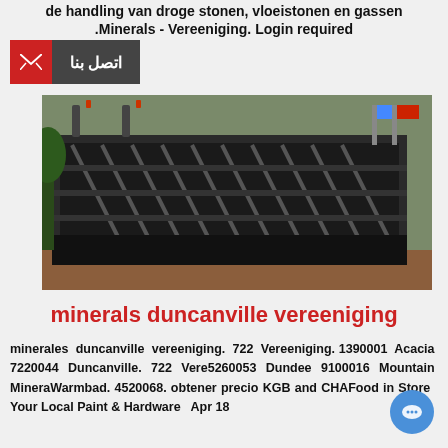de handling van droge stonen, vloeistonen en gassen .Minerals - Vereeniging. Login required
[Figure (other): Red and dark gray contact button with envelope icon and Arabic text 'اتصل بنا']
[Figure (photo): Industrial vibrating screen or mining equipment, large black metal frame with diagonal grid elements, photographed outdoors with flags in background]
minerals duncanville vereeniging
minerales duncanville vereeniging. 722 Vereeniging. 1390001 Acacia 7220044 Duncanville. 722 Vereeniging 5260053 Dundee 9100016 Mountain Minerals Warmbad. 4520068. obtener precio KGB and CHAIN Food in Store   Your Local Paint & Hardware   Apr 18